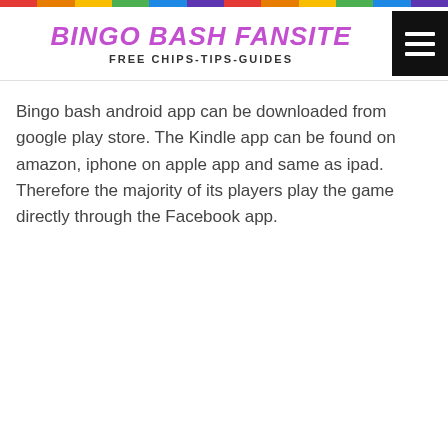BINGO BASH FANSITE
FREE CHIPS-TIPS-GUIDES
Bingo bash android app can be downloaded from google play store. The Kindle app can be found on amazon, iphone on apple app and same as ipad. Therefore the majority of its players play the game directly through the Facebook app.